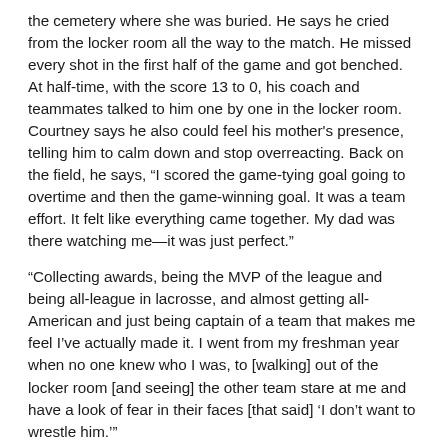the cemetery where she was buried. He says he cried from the locker room all the way to the match. He missed every shot in the first half of the game and got benched. At half-time, with the score 13 to 0, his coach and teammates talked to him one by one in the locker room. Courtney says he also could feel his mother's presence, telling him to calm down and stop overreacting. Back on the field, he says, “I scored the game-tying goal going to overtime and then the game-winning goal. It was a team effort. It felt like everything came together. My dad was there watching me—it was just perfect.”
“Collecting awards, being the MVP of the league and being all-league in lacrosse, and almost getting all-American and just being captain of a team that makes me feel I’ve actually made it. I went from my freshman year when no one knew who I was, to [walking] out of the locker room [and seeing] the other team stare at me and have a look of fear in their faces [that said] ‘I don’t want to wrestle him.’”